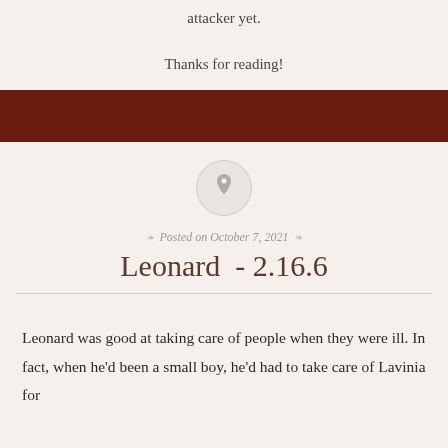attacker yet.
Thanks for reading!
Posted on October 7, 2021
Leonard - 2.16.6
Leonard was good at taking care of people when they were ill. In fact, when he'd been a small boy, he'd had to take care of Lavinia for